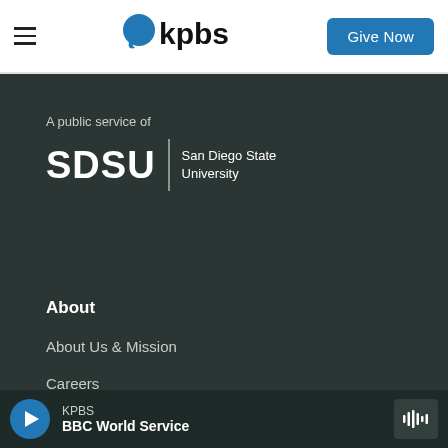[Figure (logo): KPBS navigation bar with hamburger menu, KPBS blue speech bubble logo, and Give Now button]
A public service of
[Figure (logo): SDSU San Diego State University logo in white on dark background]
About
About Us & Mission
Careers
FCC & Financial
Mobile Apps
[Figure (other): KPBS audio player bar at bottom showing BBC World Service with play button and audio waveform icon]